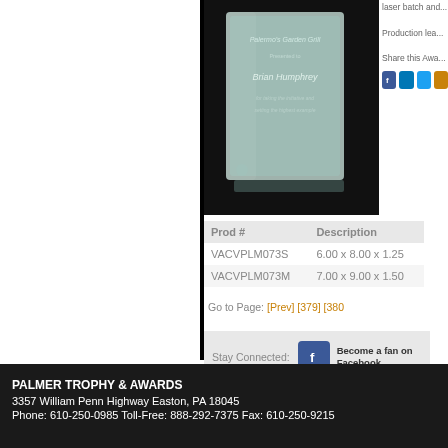[Figure (photo): Glass plaque award with engraved text presented to Brian Humphrey, shown on dark background]
laser batch and...
Production lea...
Share this Awa...
| Prod # | Description |
| --- | --- |
| VACVPLM073S | 6.00 x 8.00 x 1.25 |
| VACVPLM073M | 7.00 x 9.00 x 1.50 |
Go to Page: [Prev] [379] [380...
Stay Connected:    Become a fan on Facebook
PALMER TROPHY & AWARDS
3357 William Penn Highway Easton, PA 18045
Phone: 610-250-0985 Toll-Free: 888-292-7375 Fax: 610-250-9215